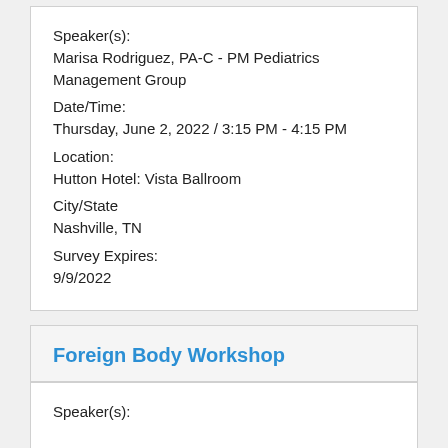Speaker(s):
Marisa Rodriguez, PA-C - PM Pediatrics Management Group
Date/Time:
Thursday, June 2, 2022 / 3:15 PM - 4:15 PM
Location:
Hutton Hotel: Vista Ballroom
City/State
Nashville, TN
Survey Expires:
9/9/2022
Foreign Body Workshop
Speaker(s):